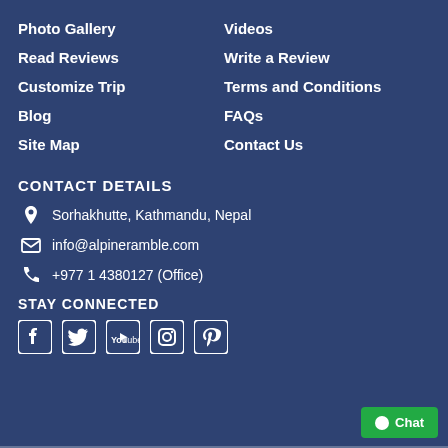Photo Gallery
Videos
Read Reviews
Write a Review
Customize Trip
Terms and Conditions
Blog
FAQs
Site Map
Contact Us
CONTACT DETAILS
Sorhakhutte, Kathmandu, Nepal
info@alpineramble.com
+977 1 4380127 (Office)
STAY CONNECTED
[Figure (illustration): Social media icons: Facebook, Twitter, YouTube, Instagram, Pinterest]